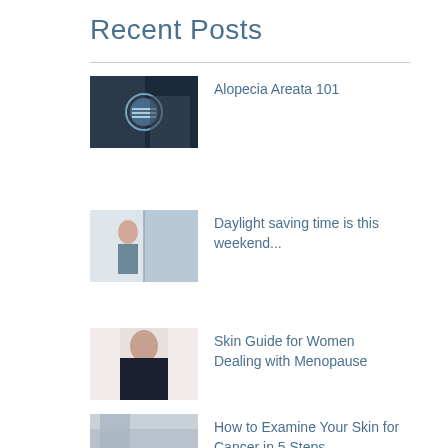Recent Posts
[Figure (screenshot): Thumbnail image for Alopecia Areata 101 post - dark background with circular logo]
Alopecia Areata 101
[Figure (photo): Thumbnail image for Daylight saving time post - person looking in mirror]
Daylight saving time is this weekend...
[Figure (photo): Thumbnail image for Skin Guide for Women post - woman in dark clothing]
Skin Guide for Women Dealing with Menopause
[Figure (photo): Thumbnail image for How to Examine Your Skin post - partial image cut off]
How to Examine Your Skin for Cancer in 5 Steps